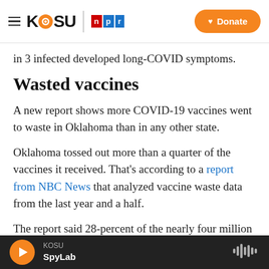KOSU | NPR — Donate
in 3 infected developed long-COVID symptoms.
Wasted vaccines
A new report shows more COVID-19 vaccines went to waste in Oklahoma than in any other state.
Oklahoma tossed out more than a quarter of the vaccines it received. That's according to a report from NBC News that analyzed vaccine waste data from the last year and a half.
The report said 28-percent of the nearly four million doses Oklahoma received went to waste. Alaska
KOSU SpyLab